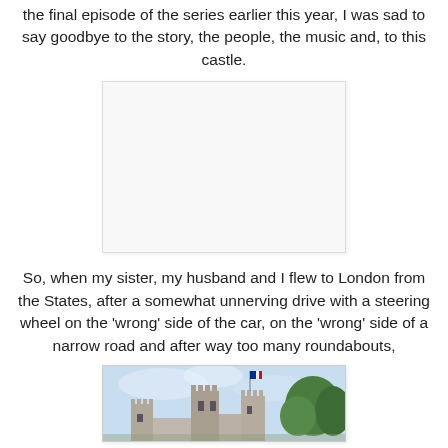the final episode of the series earlier this year, I was sad to say goodbye to the story, the people, the music and, to this castle.
[Figure (photo): A blank/white image placeholder rectangle with light border and subtle shadow.]
So, when my sister, my husband and I flew to London from the States, after a somewhat unnerving drive with a steering wheel on the 'wrong' side of the car, on the 'wrong' side of a narrow road and after way too many roundabouts,
[Figure (photo): A photo of a castle with gothic towers and battlements against a light blue sky, with trees on the right side and a flag flying at the top.]